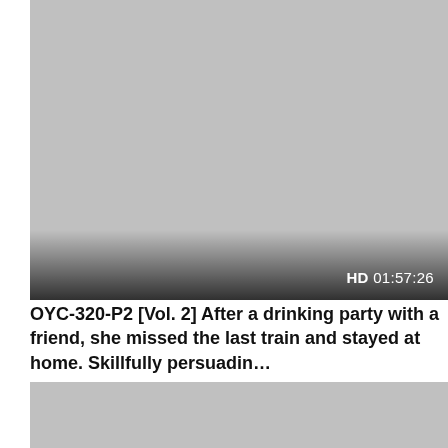[Figure (screenshot): Video thumbnail placeholder — grey rectangle with gradient bar at bottom showing HD badge and duration 01:57:26]
OYC-320-P2 [Vol. 2] After a drinking party with a friend, she missed the last train and stayed at home. Skillfully persuadin…
1K views
[Figure (screenshot): Second video thumbnail placeholder — grey rectangle, partially visible]